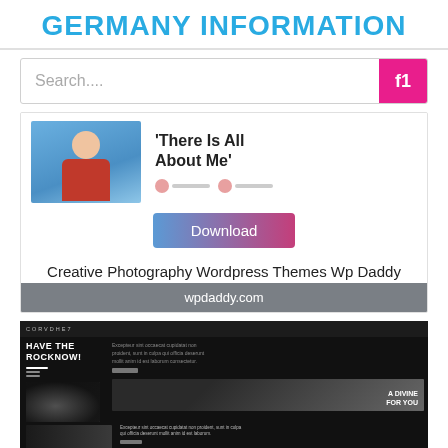GERMANY INFORMATION
Search....
[Figure (screenshot): Preview image of a resume/about me template with a man in red shirt and text 'There Is All About Me' with a Download button]
Creative Photography Wordpress Themes Wp Daddy
wpdaddy.com
[Figure (screenshot): Screenshot of a dark-themed creative photography WordPress website with black and white photography layout]